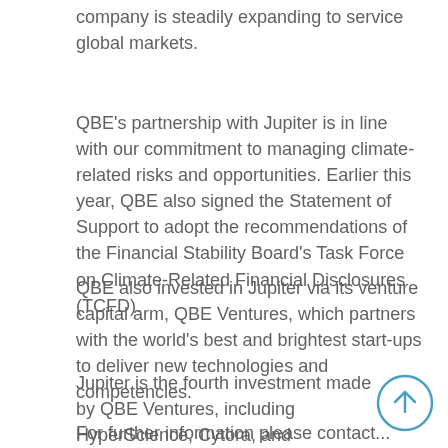company is steadily expanding to service global markets.
QBE's partnership with Jupiter is in line with our commitment to managing climate-related risks and opportunities. Earlier this year, QBE also signed the Statement of Support to adopt the recommendations of the Financial Stability Board's Task Force on Climate-Related Financial Disclosures (TCFD).
QBE also invested in Jupiter via its venture capital arm, QBE Ventures, which partners with the world's best and brightest start-ups to deliver new technologies and competencies.
Jupiter is the fourth investment made by QBE Ventures, including HyperScience, Cytora, and RiskGenius, since its launch in 2017.
For further information please contact...